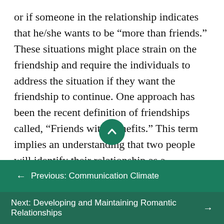or if someone in the relationship indicates that he/she wants to be “more than friends.” These situations might place strain on the friendship and require the individuals to address the situation if they want the friendship to continue. One approach has been the recent definition of friendships called, “Friends with Benefits.” This term implies an understanding that two people will identify their relationship as a friendship, but will be open to engaging in sexual activity without committing to the other characteristics common in romantic relationships.
← Previous: Communication Climate
Next: Developing and Maintaining Romantic Relationships →